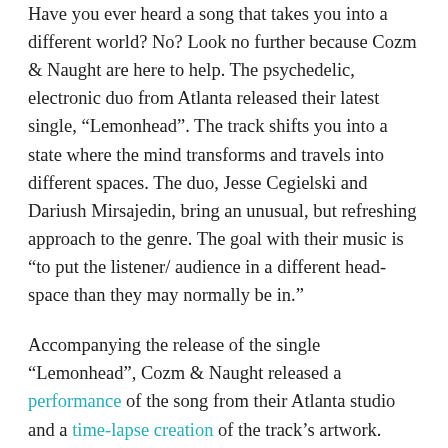Have you ever heard a song that takes you into a different world? No? Look no further because Cozm & Naught are here to help. The psychedelic, electronic duo from Atlanta released their latest single, “Lemonhead”. The track shifts you into a state where the mind transforms and travels into different spaces. The duo, Jesse Cegielski and Dariush Mirsajedin, bring an unusual, but refreshing approach to the genre. The goal with their music is “to put the listener/ audience in a different head-space than they may normally be in.”
Accompanying the release of the single “Lemonhead”, Cozm & Naught released a performance of the song from their Atlanta studio and a time-lapse creation of the track’s artwork. These videos help to add another dimension to their sound and give listeners a look into the process of the work. The track is thought-provoking and demands to be put on repeat to dissect the different layers to it. Let the mind run wild and free by listening to Cozm & Naught’s “Lemonhead”.